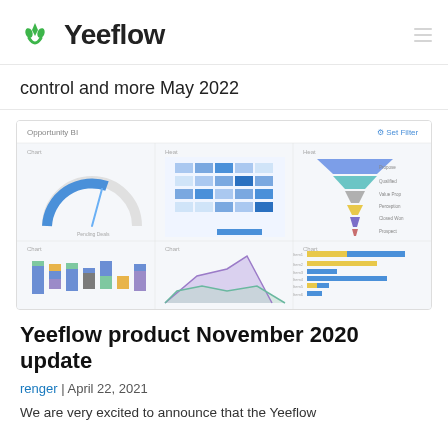Yeeflow
control and more May 2022
[Figure (screenshot): Yeeflow Opportunity BI dashboard screenshot showing six charts: a gauge chart, a heatmap/matrix chart, a funnel chart, a stacked bar chart, an area chart, and a horizontal bar chart.]
Yeeflow product November 2020 update
renger | April 22, 2021
We are very excited to announce that the Yeeflow